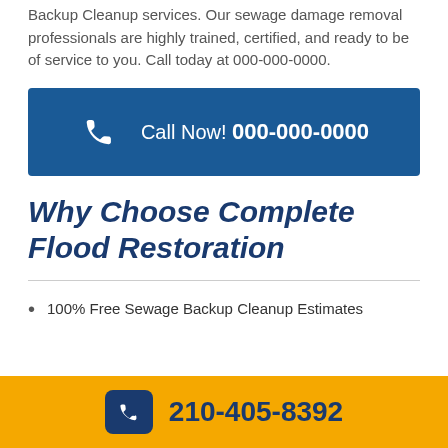Backup Cleanup services. Our sewage damage removal professionals are highly trained, certified, and ready to be of service to you. Call today at 000-000-0000.
[Figure (infographic): Blue call-to-action banner with phone icon and text: Call Now! 000-000-0000]
Why Choose Complete Flood Restoration
100% Free Sewage Backup Cleanup Estimates
[Figure (infographic): Yellow bottom bar with dark blue phone icon box and phone number 210-405-8392]